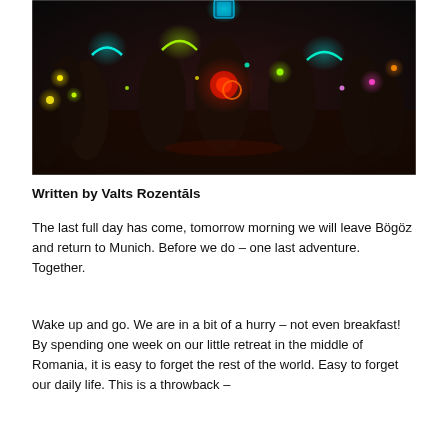[Figure (photo): Night photo of a group of people wearing and holding glow-in-the-dark neon accessories and lights in various colors (cyan, green, yellow, pink, red, orange) against a dark outdoor background.]
Written by Valts Rozentāls
The last full day has come, tomorrow morning we will leave Bögöz and return to Munich. Before we do – one last adventure. Together.
Wake up and go. We are in a bit of a hurry – not even breakfast! By spending one week on our little retreat in the middle of Romania, it is easy to forget the rest of the world. Easy to forget our daily life. This is a throwback – something like Covid-19 is still holding us prisoner. The